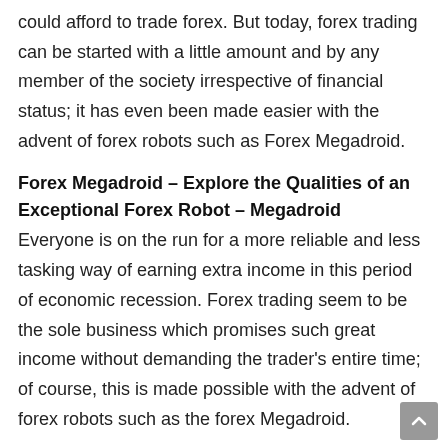could afford to trade forex. But today, forex trading can be started with a little amount and by any member of the society irrespective of financial status; it has even been made easier with the advent of forex robots such as Forex Megadroid.
Forex Megadroid – Explore the Qualities of an Exceptional Forex Robot – Megadroid
Everyone is on the run for a more reliable and less tasking way of earning extra income in this period of economic recession. Forex trading seem to be the sole business which promises such great income without demanding the trader's entire time; of course, this is made possible with the advent of forex robots such as the forex Megadroid.
Forex Megadroid – How Do You Identify the Best Forex Robot?
Since the invention of forex robots, there have been a...